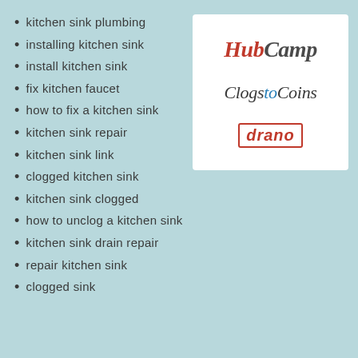kitchen sink plumbing
installing kitchen sink
install kitchen sink
fix kitchen faucet
how to fix a kitchen sink
kitchen sink repair
kitchen sink link
clogged kitchen sink
kitchen sink clogged
how to unclog a kitchen sink
kitchen sink drain repair
repair kitchen sink
clogged sink
[Figure (logo): Three logos: HubCamp (red italic serif), Clogs to Coins (cursive italic), Drano (red bold italic with border)]